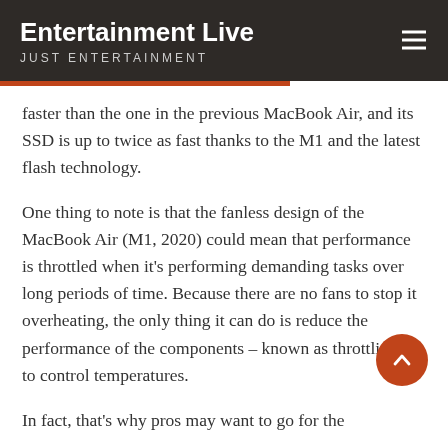Entertainment Live
JUST ENTERTAINMENT
faster than the one in the previous MacBook Air, and its SSD is up to twice as fast thanks to the M1 and the latest flash technology.
One thing to note is that the fanless design of the MacBook Air (M1, 2020) could mean that performance is throttled when it's performing demanding tasks over long periods of time. Because there are no fans to stop it overheating, the only thing it can do is reduce the performance of the components – known as throttling – to control temperatures.
In fact, that's why pros may want to go for the